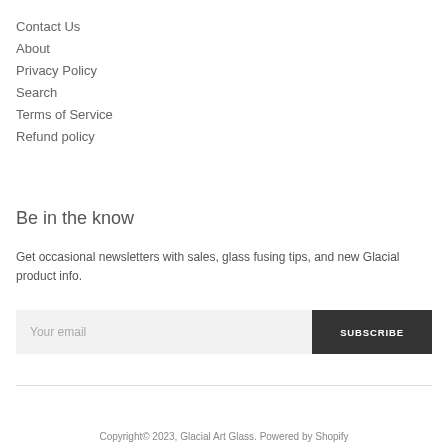Contact Us
About
Privacy Policy
Search
Terms of Service
Refund policy
Be in the know
Get occasional newsletters with sales, glass fusing tips, and new Glacial product info.
Copyright© 2023, Glacial Art Glass. Powered by Shopify